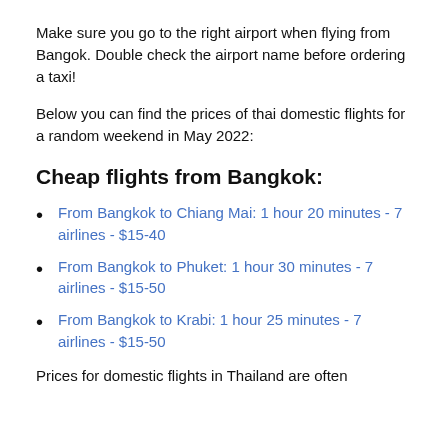Make sure you go to the right airport when flying from Bangok. Double check the airport name before ordering a taxi!
Below you can find the prices of thai domestic flights for a random weekend in May 2022:
Cheap flights from Bangkok:
From Bangkok to Chiang Mai: 1 hour 20 minutes - 7 airlines - $15-40
From Bangkok to Phuket: 1 hour 30 minutes - 7 airlines - $15-50
From Bangkok to Krabi: 1 hour 25 minutes - 7 airlines - $15-50
Prices for domestic flights in Thailand are often similar or lower for the same route. Thailand d...